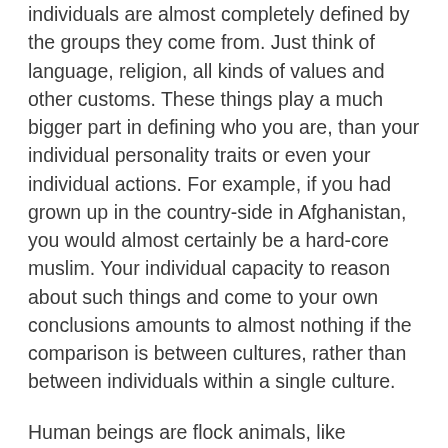individuals are almost completely defined by the groups they come from. Just think of language, religion, all kinds of values and other customs. These things play a much bigger part in defining who you are, than your individual personality traits or even your individual actions. For example, if you had grown up in the country-side in Afghanistan, you would almost certainly be a hard-core muslim. Your individual capacity to reason about such things and come to your own conclusions amounts to almost nothing if the comparison is between cultures, rather than between individuals within a single culture.
Human beings are flock animals, like chimpanzees. Not solitary animals, like orangutans. We are biologically hard-wired to live in symbiosis with with a small group. To say that there is "nothing special" about such groups is profoundly unrealistic. So speaking from biological facts, rather than romantic ideals,